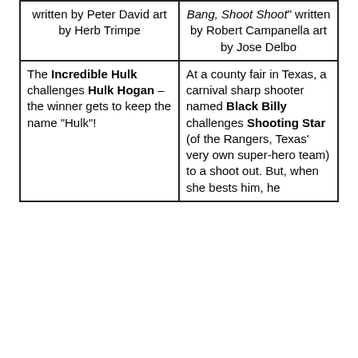| written by Peter David art by Herb Trimpe | Bang, Shoot Shoot" written by Robert Campanella art by Jose Delbo |
| The Incredible Hulk challenges Hulk Hogan – the winner gets to keep the name "Hulk"! | At a county fair in Texas, a carnival sharp shooter named Black Billy challenges Shooting Star (of the Rangers, Texas' very own super-hero team) to a shoot out. But, when she bests him, he [continues] |